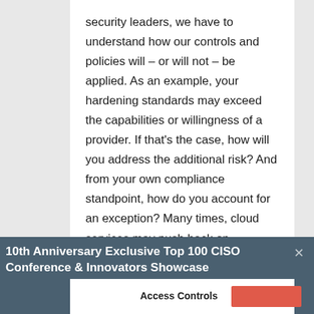security leaders, we have to understand how our controls and policies will – or will not – be applied. As an example, your hardening standards may exceed the capabilities or willingness of a provider. If that's the case, how will you address the additional risk? And from your own compliance standpoint, how do you account for an exception? Many times, cloud services may push back on requirements, making their link in your chain of security a weak point. When that happens, you'll need to address the issue both technically and contractually.
10th Anniversary Exclusive Top 100 CISO Conference & Innovators Showcase
Access Controls